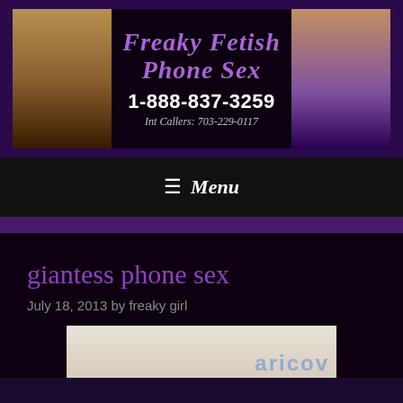[Figure (illustration): Banner for 'Freaky Fetish Phone Sex' website showing two women on either side of text. Left: blonde woman, right: redhead woman in purple top. Center text: 'Freaky Fetish Phone Sex 1-888-837-3259 Int Callers: 703-229-0117']
Menu
giantess phone sex
July 18, 2013 by freaky girl
[Figure (photo): Partially visible photo at bottom of page with blue stylized text beginning to appear]